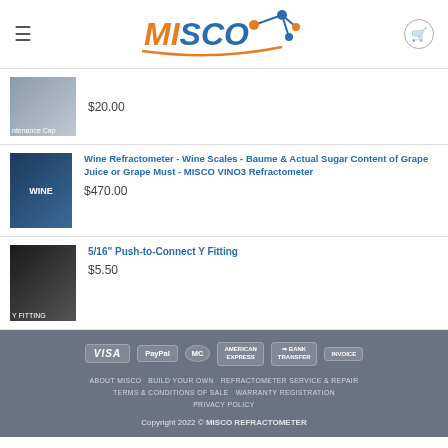[Figure (logo): MISCO logo with molecular graphic]
$20.00 — maintenance cap product
Wine Refractometer - Wine Scales - Baume & Actual Sugar Content of Grape Juice or Grape Must - MISCO VINO3 Refractometer — $470.00
5/16" Push-to-Connect Y Fitting — $5.50
VISA PayPal MasterCard American Express Bank Transfer Invoice — ABOUT MISCO BUILD YOUR OWN REFRACTOMETER SERVICE & REPAIR TERMS & CONDITIONS OF SALE WARRANTY REGISTRATION PRIVACY POLICY — Copyright 2022 © MISCO REFRACTOMETER